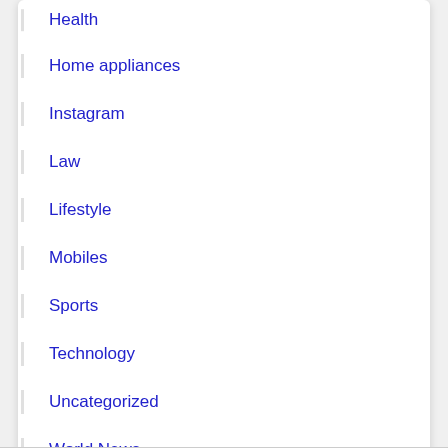Health
Home appliances
Instagram
Law
Lifestyle
Mobiles
Sports
Technology
Uncategorized
World News